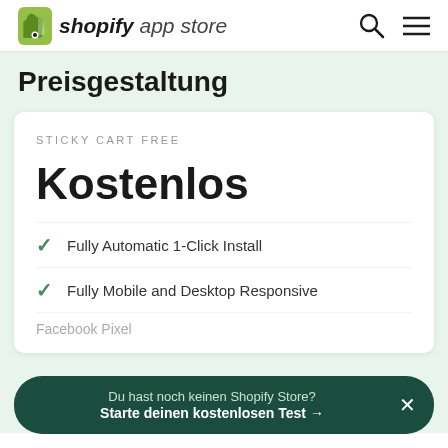shopify app store
Preisgestaltung
STICKY CART FREE
Kostenlos
Fully Automatic 1-Click Install
Fully Mobile and Desktop Responsive
Du hast noch keinen Shopify Store? Starte deinen kostenlosen Test →